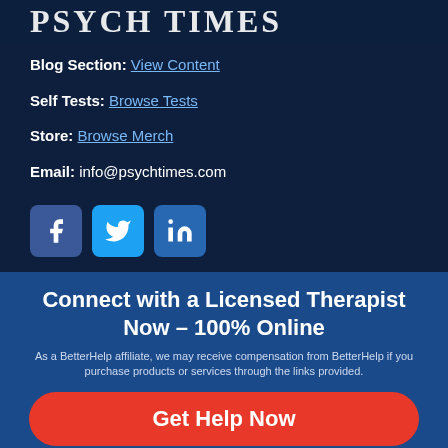PSYCH TIMES
Blog Section: View Content
Self Tests: Browse Tests
Store: Browse Merch
Email: info@psychtimes.com
[Figure (infographic): Social media icons: Facebook, Twitter, LinkedIn]
Connect with a Licensed Therapist Now - 100% Online
As a BetterHelp affiliate, we may receive compensation from BetterHelp if you purchase products or services through the links provided.
Get Help Now